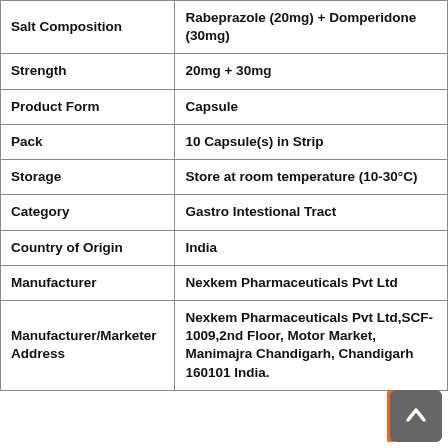| Salt Composition | Rabeprazole (20mg) + Domperidone (30mg) |
| Strength | 20mg + 30mg |
| Product Form | Capsule |
| Pack | 10 Capsule(s) in Strip |
| Storage | Store at room temperature (10-30°C) |
| Category | Gastro Intestional Tract |
| Country of Origin | India |
| Manufacturer | Nexkem Pharmaceuticals Pvt Ltd |
| Manufacturer/Marketer Address | Nexkem Pharmaceuticals Pvt Ltd,SCF-1009,2nd Floor, Motor Market, Manimajra Chandigarh, Chandigarh 160101 India. |